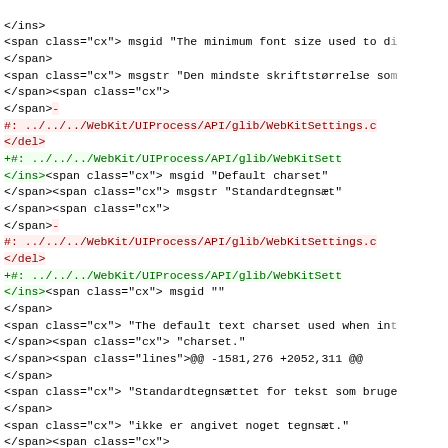Code diff showing XML/HTML markup with span, del, ins elements and diff hunk header for WebKitSettings localization file